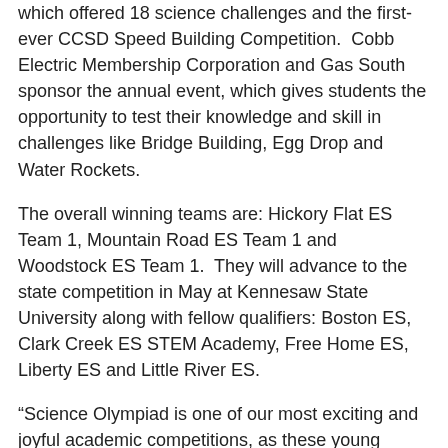which offered 18 science challenges and the first-ever CCSD Speed Building Competition.  Cobb Electric Membership Corporation and Gas South sponsor the annual event, which gives students the opportunity to test their knowledge and skill in challenges like Bridge Building, Egg Drop and Water Rockets.
The overall winning teams are: Hickory Flat ES Team 1, Mountain Road ES Team 1 and Woodstock ES Team 1.  They will advance to the state competition in May at Kennesaw State University along with fellow qualifiers: Boston ES, Clark Creek ES STEM Academy, Free Home ES, Liberty ES and Little River ES.
“Science Olympiad is one of our most exciting and joyful academic competitions, as these young scientists get really into the challenges,” Superintendent of Schools Dr. Brian V. Hightower.  “Congratulations to all of our winning students and their dedicated teacher coaches -- we wish you the best at state competition.  Thank you to the organizers, volunteers and sponsors for all you do to make this day a success.”
Hickory Flat’s team is coached by teachers Colton Christian, Michelle Kozak and Sarah Medley; team members are: Devin